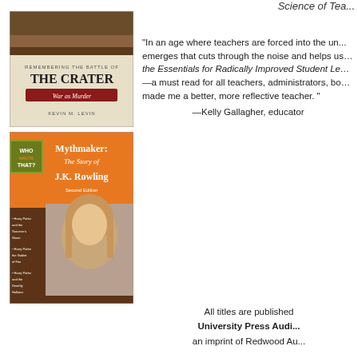[Figure (photo): Book cover: Remembering the Battle of The Crater - War as Murder by Kevin M. Levin]
[Figure (photo): Book cover: Mythmaker: The Story of J.K. Rowling (Who Wrote That? series), Second Edition, featuring a photo of J.K. Rowling]
Science of Tea...
“In an age where teachers are forced into the un... emerges that cuts through the noise and helps us... the Essentials for Radically Improved Student Le... —a must read for all teachers, administrators, bo... made me a better, more reflective teacher.” —Kelly Gallagher, educator
All titles are published by University Press Audio an imprint of Redwood Au...